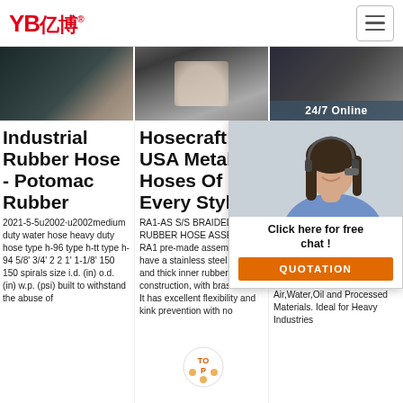YB亿博® [navigation logo and hamburger menu]
[Figure (photo): Three product/banner images in a row: left shows dark braided rubber hose, center shows a hose fitting being held, right shows dark industrial equipment with '24/7 Online' badge overlay]
Industrial Rubber Hose - Potomac Rubber
2021-5-5u2002·u2002medium duty water hose heavy duty hose type h-96 type h-tt type h-94 5/8' 3/4' 2 2 1' 1-1/8' 150 150 spirals size i.d. (in) o.d. (in) w.p. (psi) built to withstand the abuse of
Hosecraft USA Metal Hoses Of Every Style
RA1-AS S/S BRAIDED RUBBER HOSE ASSEMBLY RA1 pre-made assemblies have a stainless steel braid and thick inner rubber construction, with brass ends. It has excellent flexibility and kink prevention with no
Pn Air Ru He (G
Typ Trea Braided (Non Toxic). Type: Heavy Duty. Working Medium: Air,Water,Oil and Processed Materials. Ideal for Heavy Industries
[Figure (photo): Chat widget overlay: woman with headset smiling, '24/7 Online' text, 'Click here for free chat!' message, orange QUOTATION button, and animated spinning logo at bottom right]
24/7 Online
Click here for free chat !
QUOTATION